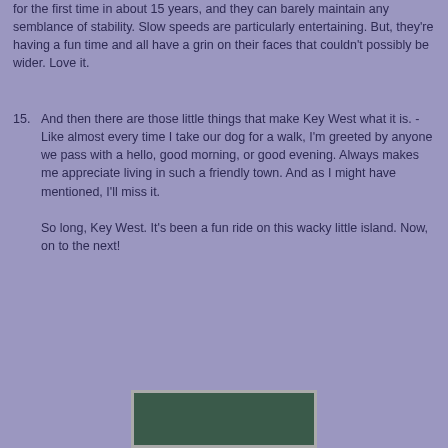for the first time in about 15 years, and they can barely maintain any semblance of stability.  Slow speeds are particularly entertaining.  But, they're having a fun time and all have a grin on their faces that couldn't possibly be wider.  Love it.
15.  And then there are those little things that make Key West what it is. - Like almost every time I take our dog for a walk, I'm greeted by anyone we pass with a hello, good morning, or good evening.  Always makes me appreciate living in such a friendly town.  And as I might have mentioned, I'll miss it.

So long, Key West.  It's been a fun ride on this wacky little island.  Now, on to the next!
[Figure (photo): A photo partially visible at the bottom of the page, appears to show a dark green/teal background scene.]